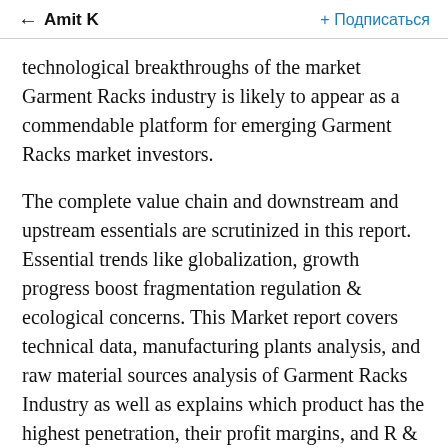← Amit K   + Подписаться
technological breakthroughs of the market Garment Racks industry is likely to appear as a commendable platform for emerging Garment Racks market investors.
The complete value chain and downstream and upstream essentials are scrutinized in this report. Essential trends like globalization, growth progress boost fragmentation regulation & ecological concerns. This Market report covers technical data, manufacturing plants analysis, and raw material sources analysis of Garment Racks Industry as well as explains which product has the highest penetration, their profit margins, and R & D status. The report makes future projections based on the